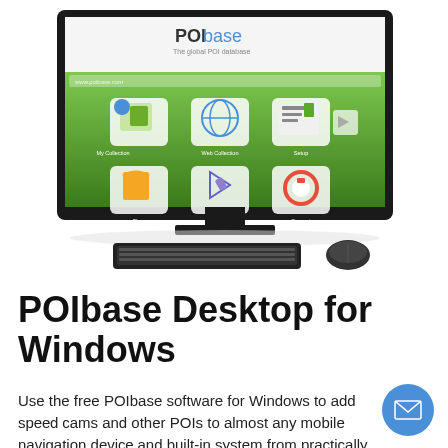[Figure (screenshot): POIbase desktop application shown on a computer monitor with keyboard and mouse. The software interface shows a green-themed website with POIbase logo and six icon buttons: My Collection, Web Collection, Setup (top row), Shop, Education, Support (bottom row).]
POIbase Desktop for Windows
Use the free POIbase software for Windows to add speed cams and other POIs to almost any mobile navigation device and built-in system from practically every manufacturer in just